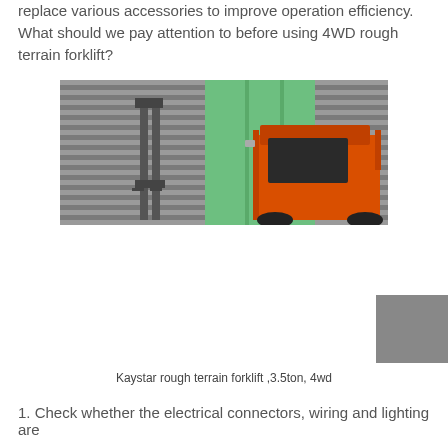replace various accessories to improve operation efficiency. What should we pay attention to before using 4WD rough terrain forklift?
[Figure (photo): Photo of a 4WD rough terrain forklift with an orange cab and mast, parked against a corrugated metal wall with green glass panels.]
Kaystar rough terrain forklift ,3.5ton, 4wd
1. Check whether the electrical connectors, wiring and lighting are